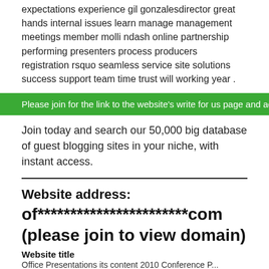expectations experience gil gonzalesdirector great hands internal issues learn manage management meetings member molli ndash online partnership performing presenters process producers registration rsquo seamless service site solutions success support team time trust will working year .
Please join for the link to the website's write for us page and access to
Join today and search our 50,000 big database of guest blogging sites in your niche, with instant access.
Website address:
of***********************com (please join to view domain)
Website title
Office Presentations its content 2010 Conference P...